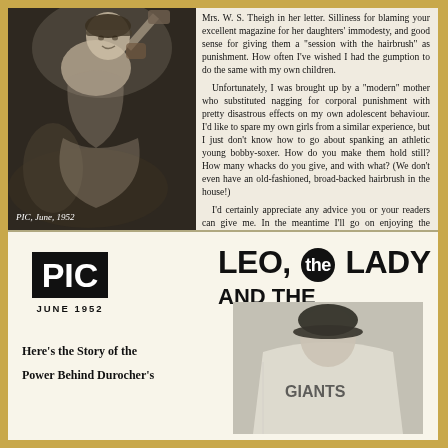[Figure (photo): Black and white photo of a woman in Native American costume holding a tomahawk, posing playfully. Caption reads 'PIC, June, 1952'.]
Mrs. W. S. Theigh in her letter. Silliness for blaming your excellent magazine for her daughters' immodesty, and good sense for giving them a "session with the hairbrush" as punishment. How often I've wished I had the gumption to do the same with my own children.
  Unfortunately, I was brought up by a "modern" mother who substituted nagging for corporal punishment with pretty disastrous effects on my own adolescent behaviour. I'd like to spare my own girls from a similar experience, but I just don't know how to go about spanking an athletic young bobby-soxer. How do you make them hold still? How many whacks do you give, and with what? (We don't even have an old-fashioned, broad-backed hairbrush in the house!)
  I'd certainly appreciate any advice you or your readers can give me. In the meantime I'll go on enjoying the articles and pictures in PIC, just as they are.
  Mrs. Anne Park, New York City.
[Figure (logo): PIC magazine logo in black box, dated JUNE 1952]
Here's the Story of the
Power Behind Durocher's
LEO, the LADY AND THE GIANTS
[Figure (photo): Black and white photo of a baseball player wearing a jersey with 'GIANTS' text visible.]